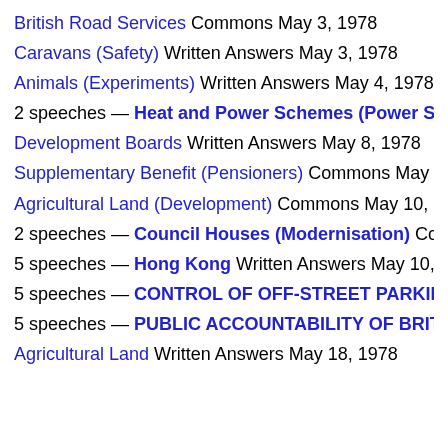British Road Services Commons May 3, 1978
Caravans (Safety) Written Answers May 3, 1978
Animals (Experiments) Written Answers May 4, 1978
2 speeches — Heat and Power Schemes (Power Stations) C…
Development Boards Written Answers May 8, 1978
Supplementary Benefit (Pensioners) Commons May 9, 1978
Agricultural Land (Development) Commons May 10, 1978
2 speeches — Council Houses (Modernisation) Commons M…
5 speeches — Hong Kong Written Answers May 10, 1978
5 speeches — CONTROL OF OFF-STREET PARKING (RIGH…
5 speeches — PUBLIC ACCOUNTABILITY OF BRITISH RAI…
Agricultural Land Written Answers May 18, 1978